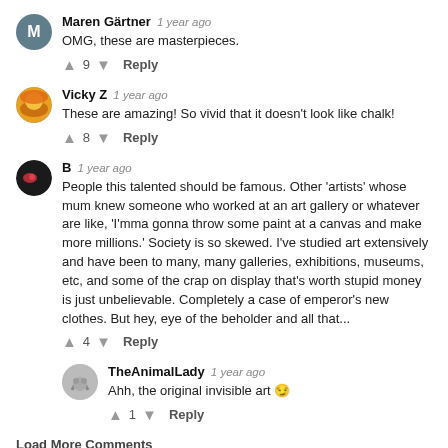Maren Gärtner  1 year ago
OMG, these are masterpieces.
↑ 9 ↓  Reply
Vicky Z  1 year ago
These are amazing! So vivid that it doesn't look like chalk!
↑ 8 ↓  Reply
B  1 year ago
People this talented should be famous. Other 'artists' whose mum knew someone who worked at an art gallery or whatever are like, 'I'mma gonna throw some paint at a canvas and make more millions.' Society is so skewed. I've studied art extensively and have been to many, many galleries, exhibitions, museums, etc, and some of the crap on display that's worth stupid money is just unbelievable. Completely a case of emperor's new clothes. But hey, eye of the beholder and all that...
↑ 4 ↓  Reply
TheAnimalLady  1 year ago
Ahh, the original invisible art 😏
↑ 1 ↓  Reply
Load More Comments